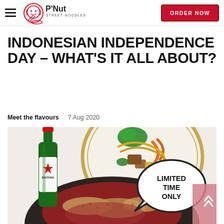P'Nut Street Noodles — ORDER NOW
INDONESIAN INDEPENDENCE DAY – WHAT'S IT ALL ABOUT?
Meet the flavours   7 Aug 2020
[Figure (photo): Food photo showing Indonesian dishes: a plate of noodles/vegetables, a green Bintang beer bottle, and a dark bowl of food with crushed peanuts. A speech bubble overlay reads 'LIMITED TIME ONLY'.]